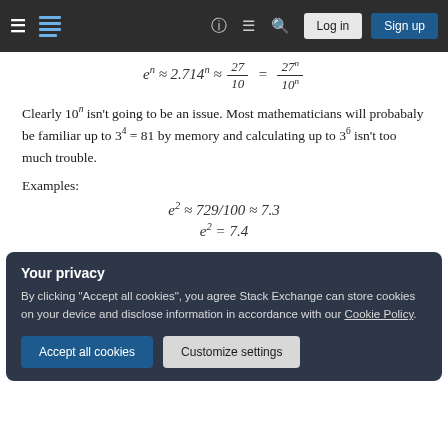Stack Exchange navigation bar with hamburger menu, logo, help, chat, search icons, Log in and Sign up buttons
Clearly 10^n isn't going to be an issue. Most mathematicians will probabaly be familiar up to 3^4 = 81 by memory and calculating up to 3^6 isn't too much trouble.
Examples:
Your privacy — By clicking "Accept all cookies", you agree Stack Exchange can store cookies on your device and disclose information in accordance with our Cookie Policy.